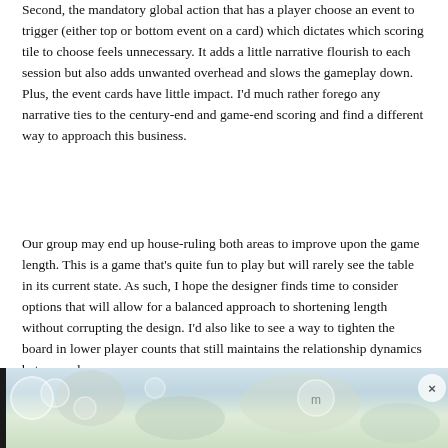Second, the mandatory global action that has a player choose an event to trigger (either top or bottom event on a card) which dictates which scoring tile to choose feels unnecessary. It adds a little narrative flourish to each session but also adds unwanted overhead and slows the gameplay down. Plus, the event cards have little impact. I'd much rather forego any narrative ties to the century-end and game-end scoring and find a different way to approach this business.
Our group may end up house-ruling both areas to improve upon the game length. This is a game that's quite fun to play but will rarely see the table in its current state. As such, I hope the designer finds time to consider options that will allow for a balanced approach to shortening length without corrupting the design. I'd also like to see a way to tighten the board in lower player counts that still maintains the relationship dynamics between players.
[Figure (photo): Partial view of a board game photograph showing game components including pieces and cards on a table, partially obscured by an advertisement or overlay UI with a close button (X) in the top right corner.]